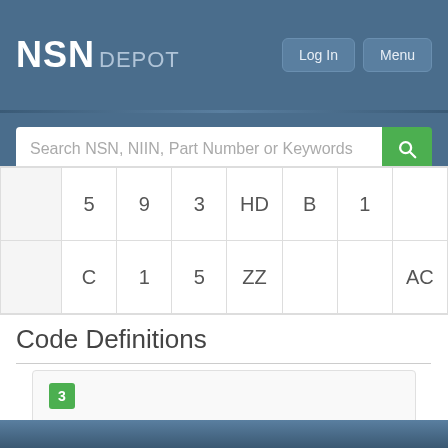NSN DEPOT
|  | 5 | 9 | 3 | HD | B | 1 |  |
|  | C | 1 | 5 | ZZ |  |  | AC |
Code Definitions
3
Reference Number Category Code (RNCC, 2018)